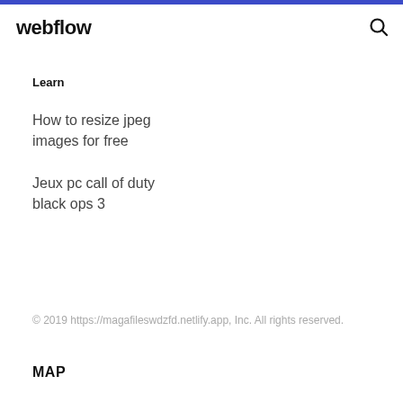webflow
Learn
How to resize jpeg images for free
Jeux pc call of duty black ops 3
© 2019 https://magafileswdzfd.netlify.app, Inc. All rights reserved.
MAP